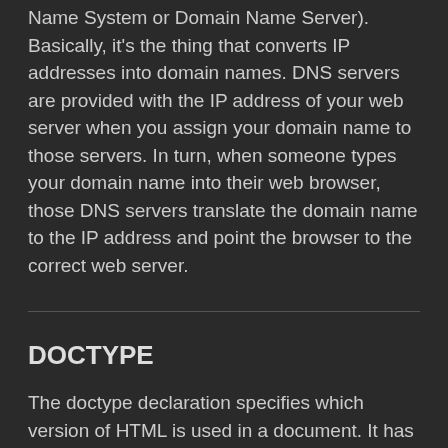Name System or Domain Name Server). Basically, it's the thing that converts IP addresses into domain names. DNS servers are provided with the IP address of your web server when you assign your domain name to those servers. In turn, when someone types your domain name into their web browser, those DNS servers translate the domain name to the IP address and point the browser to the correct web server.
DOCTYPE
The doctype declaration specifies which version of HTML is used in a document. It has a direct effect on whether your HTML will validate.